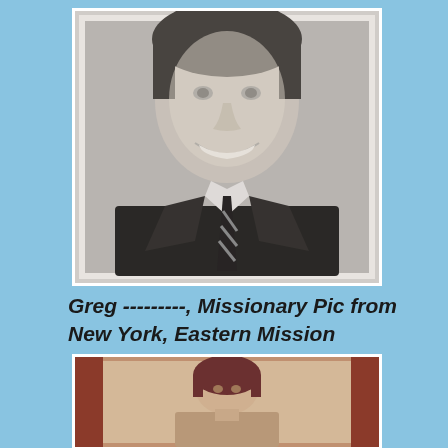[Figure (photo): Black and white formal portrait photograph of a young man smiling, wearing a suit and striped tie. Missionary photo from New York Eastern Mission.]
Greg ---------, Missionary Pic from New York, Eastern Mission
[Figure (photo): Color photograph partially visible showing a person with dark hair, appears to be a second missionary or portrait photo.]